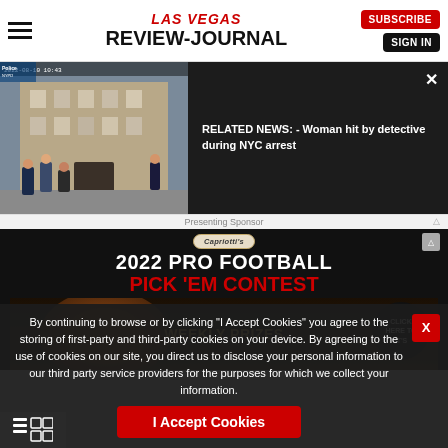LAS VEGAS REVIEW-JOURNAL | SUBSCRIBE | SIGN IN
[Figure (screenshot): Video thumbnail of street scene with police officers outside a building, related news panel with text: RELATED NEWS: - Woman hit by detective during NYC arrest]
[Figure (infographic): Advertisement for 2022 Pro Football Pick 'Em Contest by Capriotti's Sandwich Shop. Text: 2022 PRO FOOTBALL PICK 'EM CONTEST. Weekly Prizes. Click Here To... Presenting Sponsor, Supporting Sponsors: Big Dog's, Capriotti's]
By continuing to browse or by clicking “I Accept Cookies” you agree to the storing of first-party and third-party cookies on your device. By agreeing to the use of cookies on our site, you direct us to disclose your personal information to our third party service providers for the purposes for which we collect your information.
I Accept Cookies